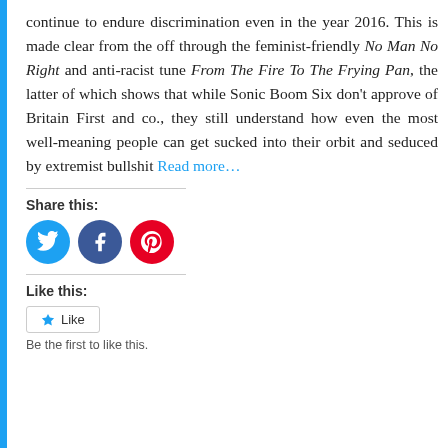continue to endure discrimination even in the year 2016. This is made clear from the off through the feminist-friendly No Man No Right and anti-racist tune From The Fire To The Frying Pan, the latter of which shows that while Sonic Boom Six don't approve of Britain First and co., they still understand how even the most well-meaning people can get sucked into their orbit and seduced by extremist bullshit Read more...
Share this:
[Figure (infographic): Social sharing icons: Twitter (blue circle), Facebook (dark blue circle), Pinterest (red circle)]
Like this:
[Figure (infographic): Like button with star icon]
Be the first to like this.